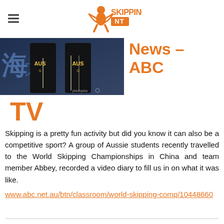Skipping NT (logo)
[Figure (photo): Two Australian team members in black and yellow uniforms holding skipping ropes at the World Skipping Championships in China, with Chinese characters in the background and a photoplus watermark.]
News – ABC TV
Skipping is a pretty fun activity but did you know it can also be a competitive sport? A group of Aussie students recently travelled to the World Skipping Championships in China and team member Abbey, recorded a video diary to fill us in on what it was like.
www.abc.net.au/btn/classroom/world-skipping-comp/10448660